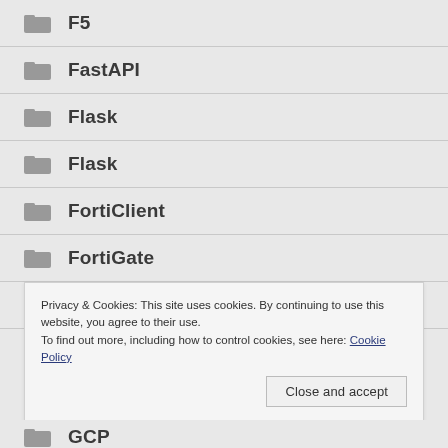F5
FastAPI
Flask
Flask
FortiClient
FortiGate
FortiNet
Privacy & Cookies: This site uses cookies. By continuing to use this website, you agree to their use.
To find out more, including how to control cookies, see here: Cookie Policy
GCP